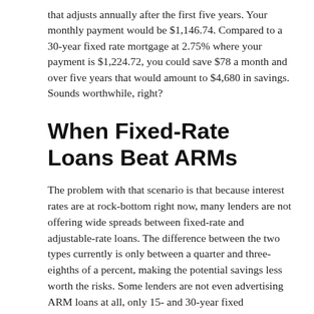that adjusts annually after the first five years. Your monthly payment would be $1,146.74. Compared to a 30-year fixed rate mortgage at 2.75% where your payment is $1,224.72, you could save $78 a month and over five years that would amount to $4,680 in savings. Sounds worthwhile, right?
When Fixed-Rate Loans Beat ARMs
The problem with that scenario is that because interest rates are at rock-bottom right now, many lenders are not offering wide spreads between fixed-rate and adjustable-rate loans. The difference between the two types currently is only between a quarter and three-eighths of a percent, making the potential savings less worth the risks. Some lenders are not even advertising ARM loans at all, only 15- and 30-year fixed mortgages.
And while rates may continue to fall slightly if the effects of COVID-19 drag out, there is a very real chance that they will increase over the next five years. If you are planning to